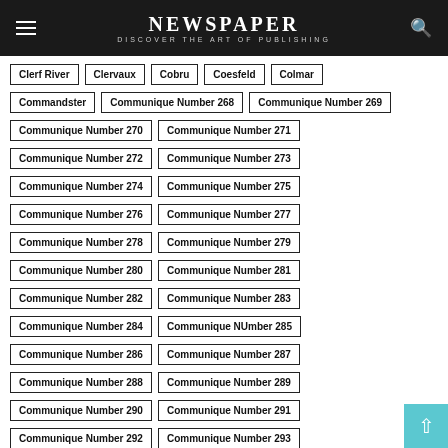NEWSPAPER DISCOVER THE ART OF PUBLISHING
Clerf River
Clervaux
Cobru
Coesfeld
Colmar
Commandster
Communique Number 268
Communique Number 269
Communique Number 270
Communique Number 271
Communique Number 272
Communique Number 273
Communique Number 274
Communique Number 275
Communique Number 276
Communique Number 277
Communique Number 278
Communique Number 279
Communique Number 280
Communique Number 281
Communique Number 282
Communique Number 283
Communique Number 284
Communique NUmber 285
Communique Number 286
Communique Number 287
Communique Number 288
Communique Number 289
Communique Number 290
Communique Number 291
Communique Number 292
Communique Number 293